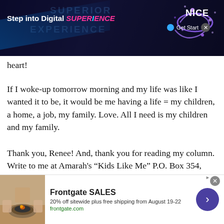[Figure (screenshot): Top advertisement banner: dark background with text 'Step into Digital SUPERIENCE' with colorful styling, NICE logo, Get Started button, and purple swirl graphic]
heart!
If I woke-up tomorrow morning and my life was like I wanted it to be, it would be me having a life = my children, a home, a job, my family. Love. All I need is my children and my family.
Thank you, Renee! And, thank you for reading my column. Write to me at Amarah's “Kids Like Me” P.O. Box 354, Alamosa, CO 81101. If you know a kid like me, or parent, who is an addict/alcoholic, please tell him/her about “Amarah’s Corner. Kids
[Figure (screenshot): Bottom advertisement banner for Frontgate SALES: 20% off sitewide plus free shipping from August 19-22, frontgate.com, with image of outdoor fire pit furniture and purple arrow button]